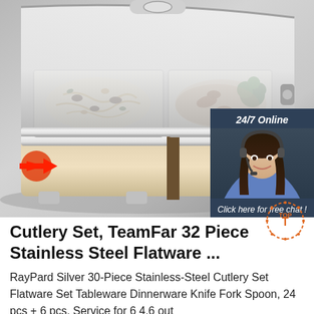[Figure (photo): Stainless steel chafing dish food warmer with open lid showing two compartments with food (noodles and stir-fried vegetables). A red arrow points to the left side of the dish. Background is grey. On the right side, an overlay box shows a customer service chat widget with '24/7 Online' heading, a woman with headset, 'Click here for free chat!' text, and an orange QUOTATION button.]
Cutlery Set, TeamFar 32 Piece Stainless Steel Flatware ...
RayPard Silver 30-Piece Stainless-Steel Cutlery Set Flatware Set Tableware Dinnerware Knife Fork Spoon, 24 pcs + 6 pcs, Service for 6 4.6 out